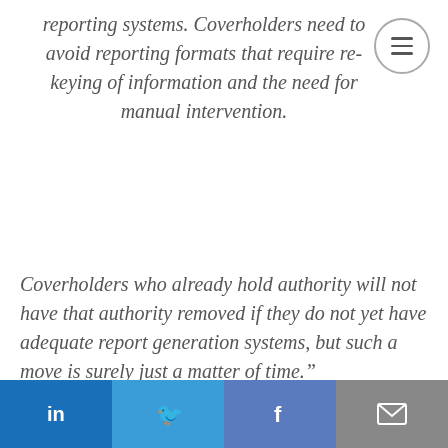reporting systems. Coverholders need to avoid reporting formats that require re-keying of information and the need for manual intervention.
Coverholders who already hold authority will not have that authority removed if they do not yet have adequate report generation systems, but such a move is surely just a matter of time.”
~ Lloyds & FCA, study conducted by JTW Connect, 18 September 2015
Given that Insly SaaS insurance software is used by many MGAs, we summarized our findings in some easy-to-understand
in  •  🐦  f  ✉